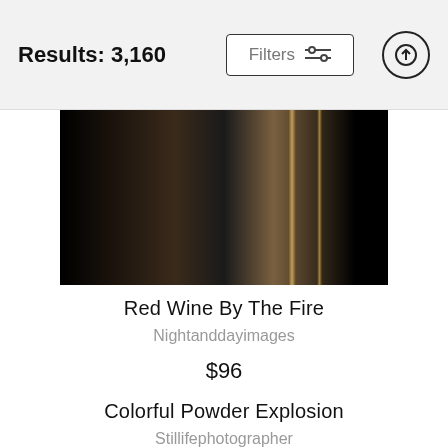Results: 3,160
[Figure (photo): A dark photo of red wine glass(es) by firelight, mostly black with warm golden-brown tones on the wine glass stems]
Red Wine By The Fire
Nightanddayimages
$96
Colorful Powder Explosion
Stillifephotographer
$98